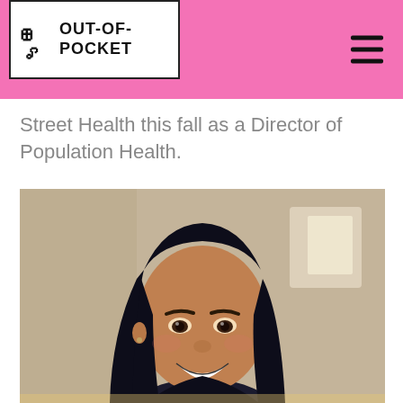Out-of-Pocket
Street Health this fall as a Director of Population Health.
[Figure (photo): Professional headshot of a young woman with long dark hair, smiling, wearing a dark blazer, with a blurred interior background.]